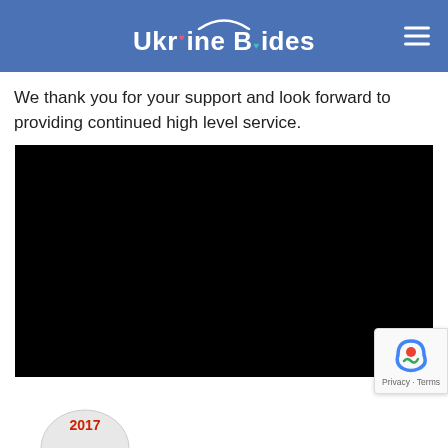Ukraine Brides
We thank you for your support and look forward to providing continued high level service.
[Figure (other): Black video player placeholder rectangle]
[Figure (other): reCAPTCHA badge with Privacy and Terms links]
[Figure (other): Partial award badge showing 2017]